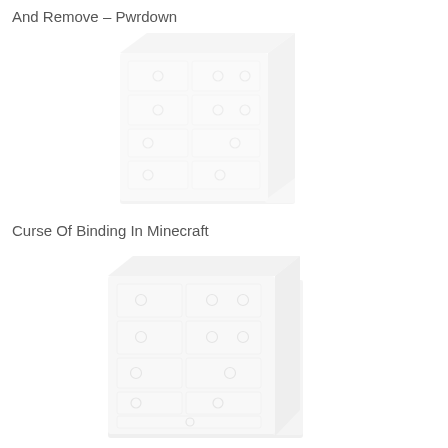And Remove – Pwrdown
[Figure (illustration): A faded/light illustration of a white wooden dresser with multiple drawers and round knobs, shown in perspective view]
Curse Of Binding In Minecraft
[Figure (illustration): A faded/light illustration of a white wooden dresser with multiple drawers and round knobs, shown in perspective view, slightly larger than the first]